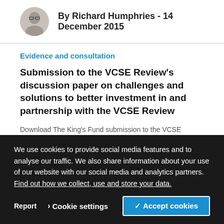By Richard Humphries - 14 December 2015
Evidence and consultation
Submission to the VCSE Review's discussion paper on challenges and solutions to better investment in and partnership with the VCSE Review
Download The King's Fund submission to the VCSE Review&rsquo;s discussion paper on challenges and solutions to better investment in and partnership with the VCSE Review.
By Lisa Weaks et al - 26 November 2015
We use cookies to provide social media features and to analyse our traffic. We also share information about your use of our website with our social media and analytics partners. Find out how we collect, use and store your data.